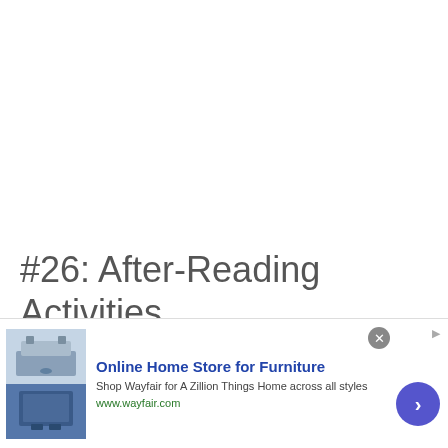#26: After-Reading Activities
With my higher-level students, I love to assign a novel to read for homework. I generally do a
[Figure (other): Advertisement banner for Wayfair online furniture store with product image, text and arrow button]